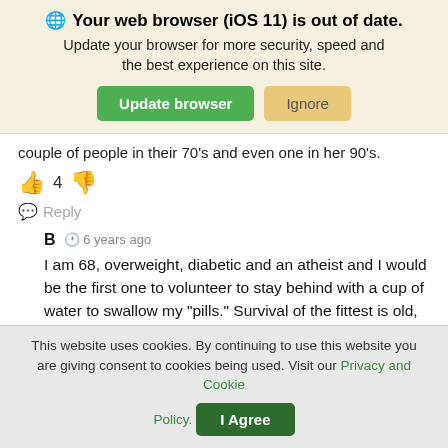🌐 Your web browser (iOS 11) is out of date. Update your browser for more security, speed and the best experience on this site.
Update browser | Ignore
couple of people in their 70's and even one in her 90's.
👍 4 👎
Reply
B  6 years ago
I am 68, overweight, diabetic and an atheist and I would be the first one to volunteer to stay behind with a cup of water to swallow my "pills." Survival of the fittest is old, true and means just what it says for a reason
This website uses cookies. By continuing to use this website you are giving consent to cookies being used. Visit our Privacy and Cookie Policy. | I Agree